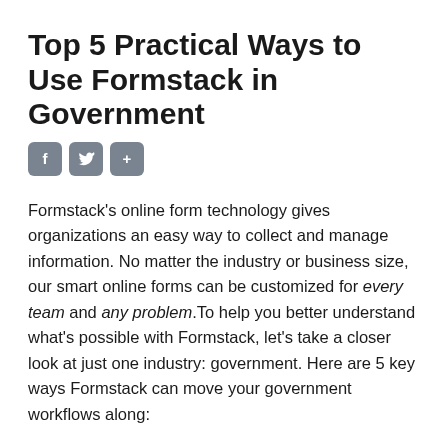Top 5 Practical Ways to Use Formstack in Government
[Figure (infographic): Three social sharing icon buttons: Facebook (f), Twitter (bird icon), and a plus (+) button, styled as rounded square gray buttons]
Formstack’s online form technology gives organizations an easy way to collect and manage information. No matter the industry or business size, our smart online forms can be customized for every team and any problem.To help you better understand what’s possible with Formstack, let’s take a closer look at just one industry: government. Here are 5 key ways Formstack can move your government workflows along: